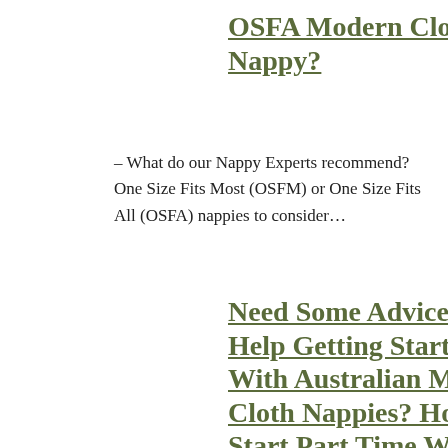OSFA Modern Cloth Nappy?
– What do our Nappy Experts recommend? One Size Fits Most (OSFM) or One Size Fits All (OSFA) nappies to consider…
Need Some Advice And Help Getting Started With Australian Modern Cloth Nappies? How To Start Part Time With A Mini Stash…